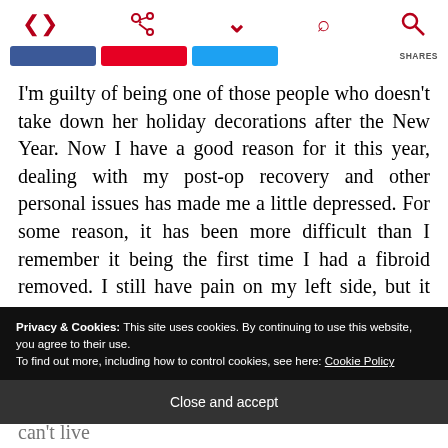Share | Chevron | Search
[Figure (screenshot): Share buttons row: Facebook (blue), Pinterest (red), Twitter (light blue), SHARES label]
I'm guilty of being one of those people who doesn't take down her holiday decorations after the New Year. Now I have a good reason for it this year, dealing with my post-op recovery and other personal issues has made me a little depressed. For some reason, it has been more difficult than I remember it being the first time I had a fibroid removed. I still have pain on my left side, but it seems to get a little better every week. I just thought that
Privacy & Cookies: This site uses cookies. By continuing to use this website, you agree to their use.
To find out more, including how to control cookies, see here: Cookie Policy
Close and accept
because there is so much I want to make! Plus, I can't live